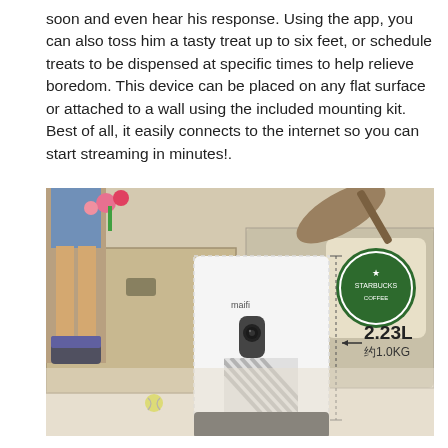soon and even hear his response. Using the app, you can also toss him a tasty treat up to six feet, or schedule treats to be dispensed at specific times to help relieve boredom. This device can be placed on any flat surface or attached to a wall using the included mounting kit. Best of all, it easily connects to the internet so you can start streaming in minutes!.
[Figure (photo): A white pet camera/treat dispenser device (branded 'maifi') sitting on a carpet in a living room setting. The device is white with a black diagonal-striped panel and a camera lens. A measurement annotation shows '2.23L / 约1.0KG'. In the background are storage boxes, a couch with a Starbucks-logo pillow, and a person's legs/feet visible on the left.]